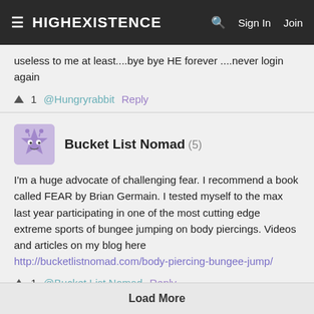HIGHEXISTENCE  Sign In  Join
useless to me at least....bye bye HE forever ....never login again
▲ 1  @Hungryrabbit  Reply
Bucket List Nomad (5)
I'm a huge advocate of challenging fear. I recommend a book called FEAR by Brian Germain. I tested myself to the max last year participating in one of the most cutting edge extreme sports of bungee jumping on body piercings. Videos and articles on my blog here http://bucketlistnomad.com/body-piercing-bungee-jump/
▲ 1  @Bucket List Nomad  Reply
Load More